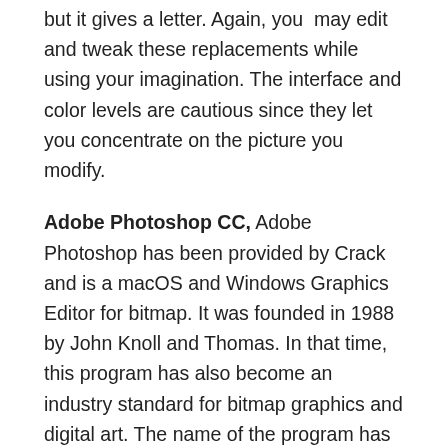but it gives a letter. Again, you may edit and tweak these replacements while using your imagination. The interface and color levels are cautious since they let you concentrate on the picture you modify.
Adobe Photoshop CC, Adobe Photoshop has been provided by Crack and is a macOS and Windows Graphics Editor for bitmap. It was founded in 1988 by John Knoll and Thomas. In that time, this program has also become an industry standard for bitmap graphics and digital art. The name of the program has therefore developed into a more comprehensive brand. For example, many raster images may produce and edited. Photoshop can also employ its PSB and PSD file formats to accommodate these characters. Adobe Illustrator CC Crack